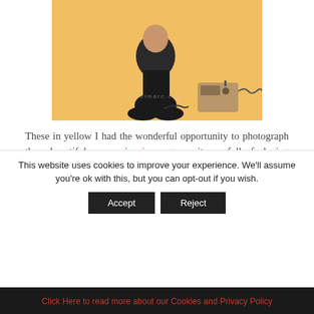[Figure (photo): A woman photographed in pin up style, kneeling, wearing dark clothing, on a yellow/orange background with a vintage radio/speaker prop and a cord. Watermark text partially visible.]
These in yellow I had the wonderful opportunity to photograph these beautiful women in pin up genre, it was full of playing dress up with the clothes, makeup and hair. This was in a local store in my town and I hope to do this again as it was a lot of fun and the women all
This website uses cookies to improve your experience. We'll assume you're ok with this, but you can opt-out if you wish.
Accept | Reject
Click Here to read more about our Cookies and Privacy Policy